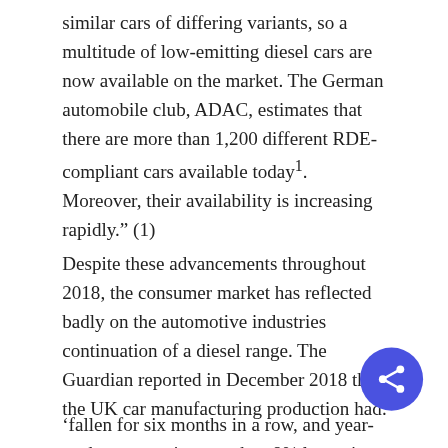similar cars of differing variants, so a multitude of low-emitting diesel cars are now available on the market. The German automobile club, ADAC, estimates that there are more than 1,200 different RDE-compliant cars available today¹. Moreover, their availability is increasing rapidly." (1)
Despite these advancements throughout 2018, the consumer market has reflected badly on the automotive industries continuation of a diesel range. The Guardian reported in December 2018 that the UK car manufacturing production had:
'fallen for six months in a row, and year-to-date output is more than 8% lower in the